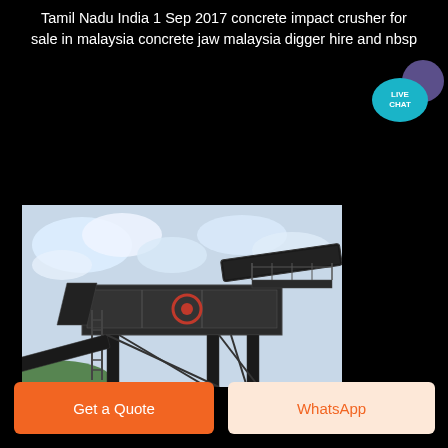Tamil Nadu India 1 Sep 2017 concrete impact crusher for sale in malaysia concrete jaw malaysia digger hire and nbsp
[Figure (photo): Industrial concrete impact crusher machine photographed from below against a cloudy sky, showing a large metal conveyor and crusher structure with ladders and scaffolding.]
Get a Quote
WhatsApp